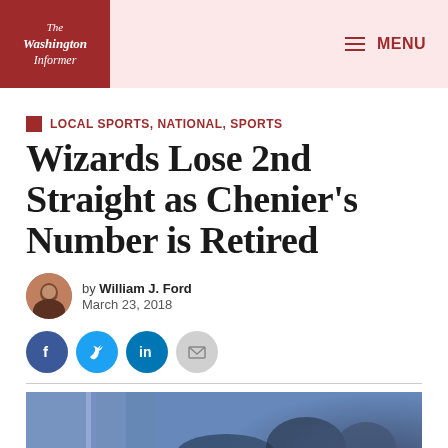The Washington Informer — MENU
LOCAL SPORTS, NATIONAL, SPORTS
Wizards Lose 2nd Straight as Chenier's Number is Retired
by William J. Ford
March 23, 2018
[Figure (photo): Partial photo strip showing blurred figures at bottom of page]